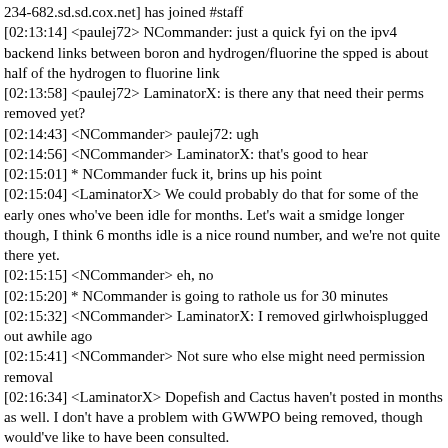234-682.sd.sd.cox.net] has joined #staff
[02:13:14] <paulej72> NCommander: just a quick fyi on the ipv4 backend links between boron and hydrogen/fluorine the spped is about half of the hydrogen to fluorine link
[02:13:58] <paulej72> LaminatorX: is there any that need their perms removed yet?
[02:14:43] <NCommander> paulej72: ugh
[02:14:56] <NCommander> LaminatorX: that's good to hear
[02:15:01] * NCommander fuck it, brins up his point
[02:15:04] <LaminatorX> We could probably do that for some of the early ones who've been idle for months. Let's wait a smidge longer though, I think 6 months idle is a nice round number, and we're not quite there yet.
[02:15:15] <NCommander> eh, no
[02:15:20] * NCommander is going to rathole us for 30 minutes
[02:15:32] <NCommander> LaminatorX: I removed girlwhoisplugged out awhile ago
[02:15:41] <NCommander> Not sure who else might need permission removal
[02:16:34] <LaminatorX> Dopefish and Cactus haven't posted in months as well. I don't have a problem with GWWPO being removed, though would've like to have been consulted.
[02:17:11] <paulej72> I thought he raged-quit or something
[02:17:19] <NCommander> LaminatorX: I did that quite a long time